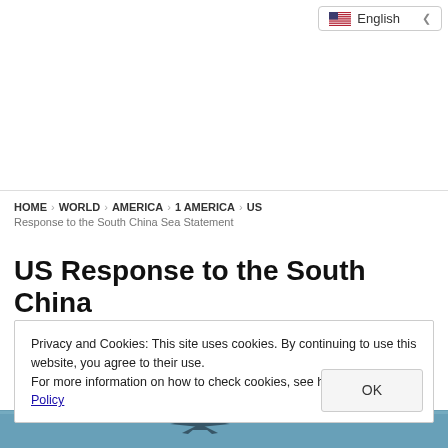[Figure (screenshot): Language selector widget showing English with US flag and dropdown chevron]
HOME > WORLD > AMERICA > 1 AMERICA > US Response to the South China Sea Statement
US Response to the South China
Privacy and Cookies: This site uses cookies. By continuing to use this website, you agree to their use.
For more information on how to check cookies, see here: Cookie Policy
OK
[Figure (photo): Partial blue-sky photograph with aircraft silhouette at bottom of page]